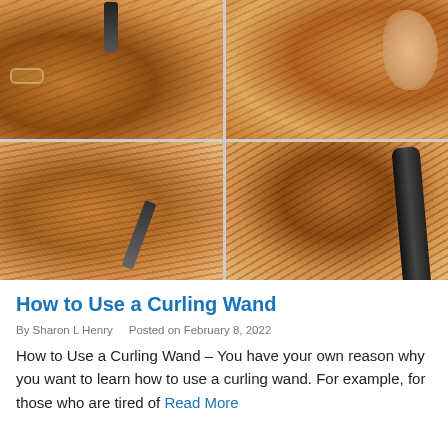[Figure (photo): A 2x2 grid of four photos showing steps of using a curling wand on auburn/brown long hair. Top-left: curling wand held near hair showing wavy curled result, bracelet visible on wrist. Top-right: hand holding a section of brown hair near a curling wand. Bottom-left: curling wand being wrapped with a section of hair, close-up. Bottom-right: curling wand pressed against large section of brown hair showing the tool in use.]
How to Use a Curling Wand
By Sharon L Henry   Posted on February 8, 2022
How to Use a Curling Wand – You have your own reason why you want to learn how to use a curling wand. For example, for those who are tired of Read More